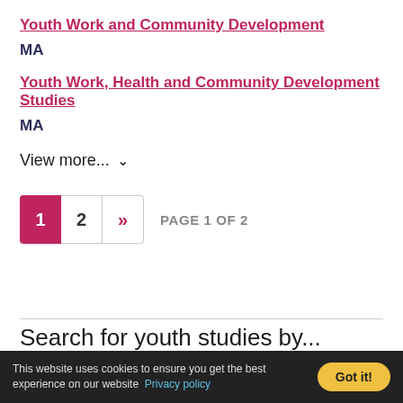Youth Work and Community Development
MA
Youth Work, Health and Community Development Studies
MA
View more...
1  2  »  PAGE 1 OF 2
Search for youth studies by...
This website uses cookies to ensure you get the best experience on our website  Privacy policy  Got it!